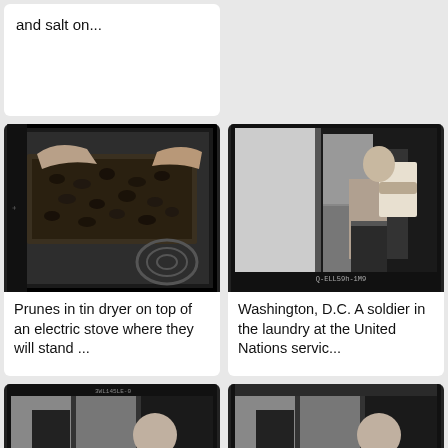and salt on...
[Figure (photo): Black and white photo of hands placing or handling prunes in a tin dryer tray on top of an electric stove]
[Figure (photo): Black and white photo of a shirtless soldier in a laundry at the United Nations service, Washington D.C., holding a box near a machine. Code: Q-ELLS9h-1M9]
Prunes in tin dryer on top of an electric stove where they will stand ...
Washington, D.C. A soldier in the laundry at the United Nations servic...
[Figure (photo): Black and white photo of a young man with a machine, partial view]
[Figure (photo): Black and white photo of a young man with a machine, partial view, with SHA pink badge overlay]